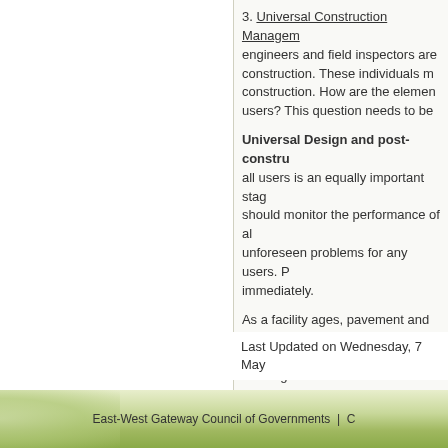3. Universal Construction Management: engineers and field inspectors are construction. These individuals must construction. How are the elements users? This question needs to be
Universal Design and post-construction: all users is an equally important stage. should monitor the performance of all unforeseen problems for any users. immediately.
As a facility ages, pavement and other broken curbs, lips caused by heaving users. Owning agencies should monitor address them without risk to any user.
Vegetation is another element of great concern. Maturing trees may have branches that hazard to the visually impaired. Monitoring prevent unnecessary injury to those using
Last Updated on Wednesday, 7 May
East-West Gateway Council of Governments |